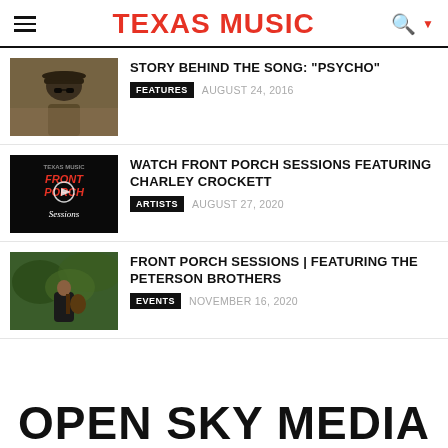Texas Music
STORY BEHIND THE SONG: "PSYCHO"
FEATURES   AUGUST 24, 2016
WATCH FRONT PORCH SESSIONS FEATURING CHARLEY CROCKETT
ARTISTS   AUGUST 27, 2020
FRONT PORCH SESSIONS | FEATURING THE PETERSON BROTHERS
EVENTS   NOVEMBER 16, 2020
OPEN SKY MEDIA